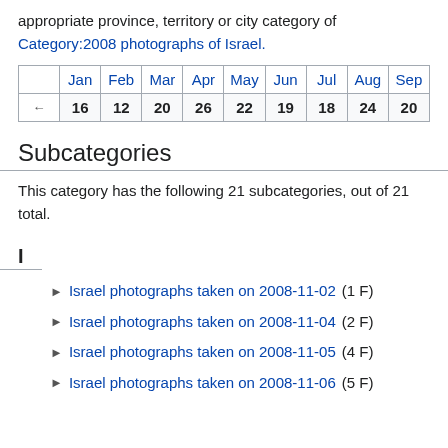appropriate province, territory or city category of Category:2008 photographs of Israel.
|  | Jan | Feb | Mar | Apr | May | Jun | Jul | Aug | Sep |
| --- | --- | --- | --- | --- | --- | --- | --- | --- | --- |
| ← | 16 | 12 | 20 | 26 | 22 | 19 | 18 | 24 | 20 |
Subcategories
This category has the following 21 subcategories, out of 21 total.
I
Israel photographs taken on 2008-11-02 (1 F)
Israel photographs taken on 2008-11-04 (2 F)
Israel photographs taken on 2008-11-05 (4 F)
Israel photographs taken on 2008-11-06 (5 F)